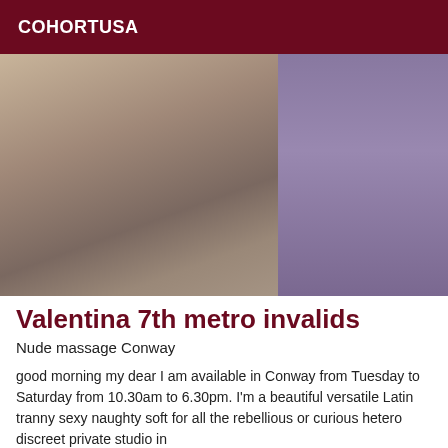COHORTUSA
[Figure (photo): A person posing on a bed with purple bedding in the background.]
Valentina 7th metro invalids
Nude massage Conway
good morning my dear I am available in Conway from Tuesday to Saturday from 10.30am to 6.30pm. I'm a beautiful versatile Latin tranny sexy naughty soft for all the rebellious or curious hetero discreet private studio in